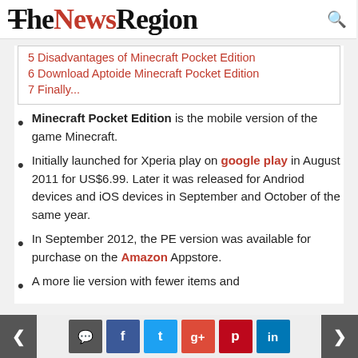TheNewsRegion
5 Disadvantages of Minecraft Pocket Edition
6 Download Aptoide Minecraft Pocket Edition
7 Finally...
Minecraft Pocket Edition is the mobile version of the game Minecraft.
Initially launched for Xperia play on google play in August 2011 for US$6.99. Later it was released for Andriod devices and iOS devices in September and October of the same year.
In September 2012, the PE version was available for purchase on the Amazon Appstore.
A more lie version with fewer items and